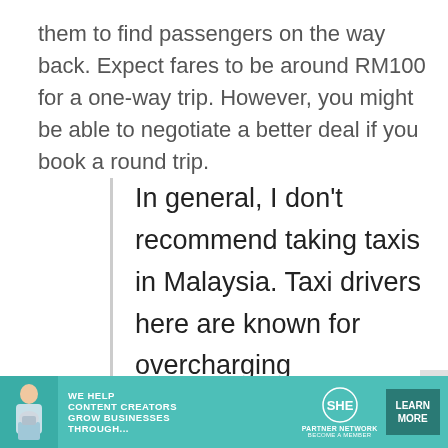them to find passengers on the way back. Expect fares to be around RM100 for a one-way trip. However, you might be able to negotiate a better deal if you book a round trip.
In general, I don't recommend taking taxis in Malaysia. Taxi drivers here are known for overcharging passengers and not using the meter. Or, if you insist on using it,
[Figure (infographic): Advertisement banner for SHE Media Partner Network. Teal/green background with a woman holding a laptop, text reading 'WE HELP CONTENT CREATORS GROW BUSINESSES THROUGH...' alongside the SHE logo and a 'LEARN MORE' button.]